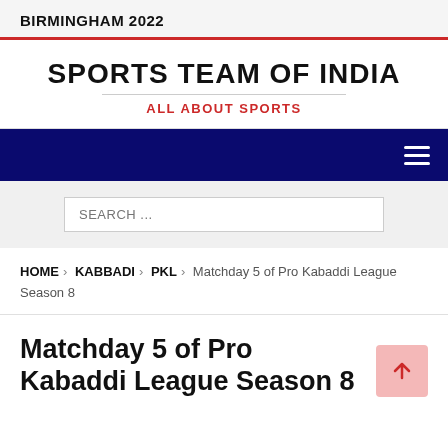BIRMINGHAM 2022
SPORTS TEAM OF INDIA
ALL ABOUT SPORTS
[Figure (other): Navigation bar with hamburger menu icon]
SEARCH ...
HOME > KABBADI > PKL > Matchday 5 of Pro Kabaddi League Season 8
Matchday 5 of Pro Kabaddi League Season 8